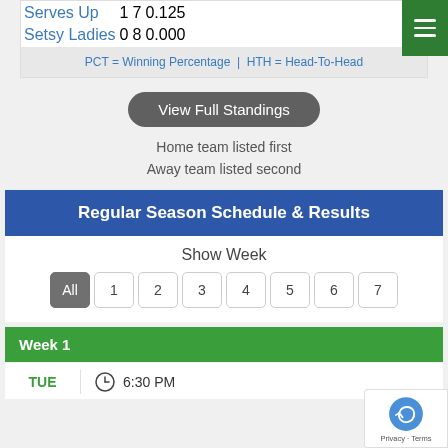| Team | W | L | PCT |
| --- | --- | --- | --- |
| Serves Up | 1 | 7 | 0.125 |
| Setsy Ladies | 0 | 8 | 0.000 |
PCT = Winning Percentage  |  HTH = Head-To-Head
View Full Standings
Home team listed first
Away team listed second
Regular Season Schedule & Results
Show Week
All  1  2  3  4  5  6  7
Week 1
TUE  6:30 PM